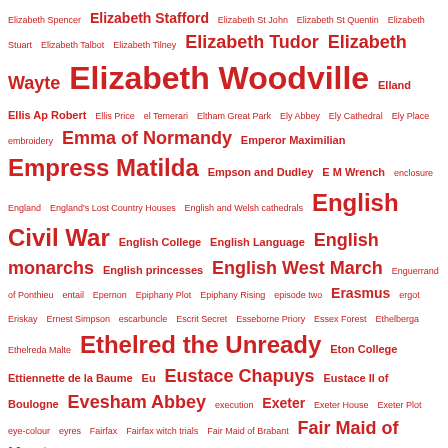Elizabeth Spencer Elizabeth Stafford Elizabeth St John Elizabeth St Quentin Elizabeth Stuart Elizabeth Talbot Elizabeth Tilney Elizabeth Tudor Elizabeth Wayte Elizabeth Woodville Elland Ellis Ap Robert Ellis Price el Temerari Eltham Great Park Ely Abbey Ely Cathedral Ely Place embroidery Emma of Normandy Emperor Maximilian Empress Matilda Empson and Dudley E M Wrench enclosure England England's Lost Country Houses English and Welsh cathedrals English Civil War English College English Language English monarchs English princesses English West March Enguerrand of Ponthieu entail Epernon Epiphany Plot Epiphany Rising episode two Erasmus ergot Eriskay Ernest Simpson escarbuncle Escrit Secret Esseborne Priory Essex Forest Ethelberga Ethelreda Malte Ethelred the Unready Eton College Ettiennette de la Baume Eu Eustace Chapuys Eustace II of Boulogne Evesham Abbey execution Exeter Exeter House Exeter Plot eye-colour eyres Fairfax Fairfax witch trials Fair Maid of Brabant Fair Maid of Kent Fair Maid of Norway Fair Rosamund falcon and fetterlock falconry